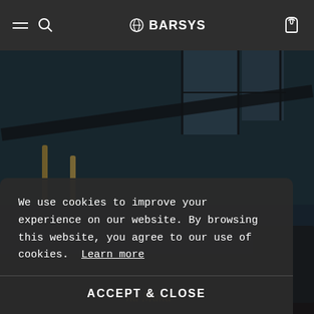BARSYS
[Figure (photo): Dark interior photo showing what appears to be a bar or restaurant setting, with industrial ceiling, windows, and a wooden surface visible at the bottom. A partial view of bottles and a hand holding something.]
We use cookies to improve your experience on our website. By browsing this website, you agree to our use of cookies.  Learn more
ACCEPT & CLOSE